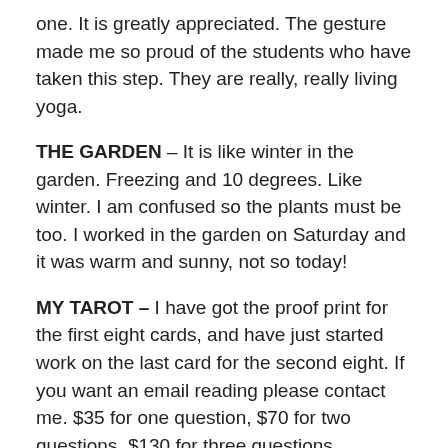one.  It is greatly appreciated. The gesture made me so proud of the students who have taken this step.  They are really, really living yoga.
THE GARDEN – It is like winter in the garden. Freezing and 10 degrees.  Like winter.  I am confused so the plants must be too.  I worked in the garden on Saturday and it was warm and sunny, not so today!
MY TAROT – I have got the proof print for the first eight cards, and have just started work on the last card for the second eight. If you want an email reading please contact me. $35 for one question, $70 for two questions, $130 for three questions.
Let me know – yogafirst2@bigpond.com. I will keep you informed as to the progress of the cards. They will be on Etsy as usual, and the web site is